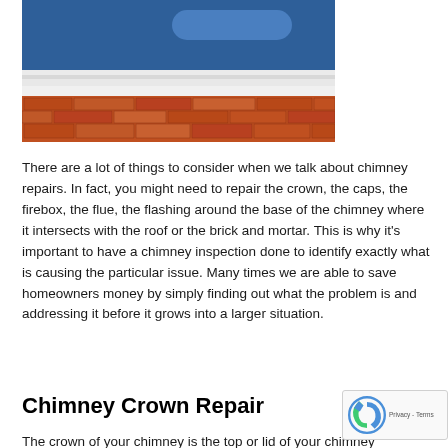[Figure (photo): Photo of a brick chimney with white flashing/drip edge against a blue sky, viewed from below/side showing roof line and brick masonry.]
There are a lot of things to consider when we talk about chimney repairs. In fact, you might need to repair the crown, the caps, the firebox, the flue, the flashing around the base of the chimney where it intersects with the roof or the brick and mortar. This is why it's important to have a chimney inspection done to identify exactly what is causing the particular issue. Many times we are able to save homeowners money by simply finding out what the problem is and addressing it before it grows into a larger situation.
Chimney Crown Repair
The crown of your chimney is the top or lid of your chimney